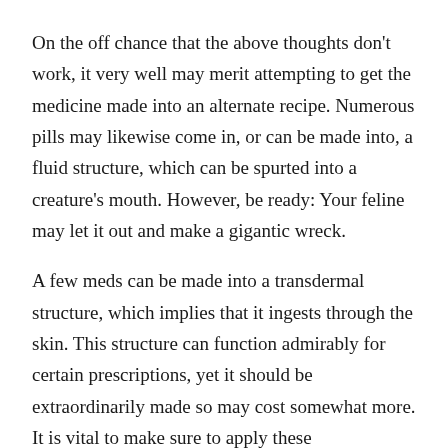On the off chance that the above thoughts don't work, it very well may merit attempting to get the medicine made into an alternate recipe. Numerous pills may likewise come in, or can be made into, a fluid structure, which can be spurted into a creature's mouth. However, be ready: Your feline may let it out and make a gigantic wreck.
A few meds can be made into a transdermal structure, which implies that it ingests through the skin. This structure can function admirably for certain prescriptions, yet it should be extraordinarily made so may cost somewhat more. It is vital to make sure to apply these